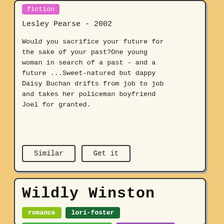fiction
Lesley Pearse - 2002
Would you sacrifice your future for the sake of your past?One young woman in search of a past - and a future ...Sweet-natured but dappy Daisy Buchan drifts from job to job and takes her policeman boyfriend Joel for granted.
Similar | Get it
Wildly Winston
romance   lori-foster   contemporary-romance   contemporary